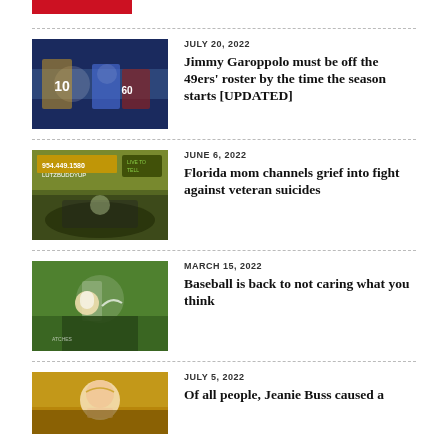[Figure (other): Red rectangular brand/logo bar at top left]
JULY 20, 2022
Jimmy Garoppolo must be off the 49ers' roster by the time the season starts [UPDATED]
[Figure (photo): Football players on field, player wearing #10 jersey visible]
JUNE 6, 2022
Florida mom channels grief into fight against veteran suicides
[Figure (photo): Truck with 'LUTZBUDDYUP' and '954.449.1580' text, 'LIVE TO TELL' sign visible]
MARCH 15, 2022
Baseball is back to not caring what you think
[Figure (photo): Baseball player or person outdoors, green background]
JULY 5, 2022
Of all people, Jeanie Buss caused a
[Figure (photo): Blonde woman smiling, dark/gold background]